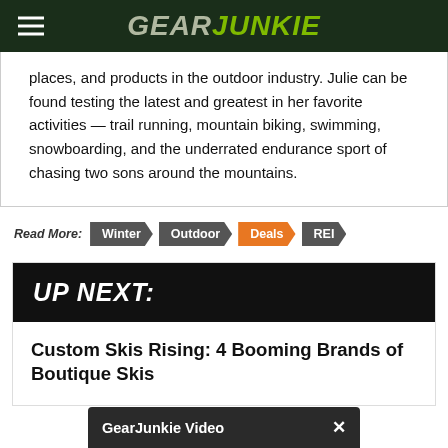GearJunkie
places, and products in the outdoor industry. Julie can be found testing the latest and greatest in her favorite activities — trail running, mountain biking, swimming, snowboarding, and the underrated endurance sport of chasing two sons around the mountains.
Read More: Winter Outdoor Deals REI
UP NEXT:
Custom Skis Rising: 4 Booming Brands of Boutique Skis
GearJunkie Video